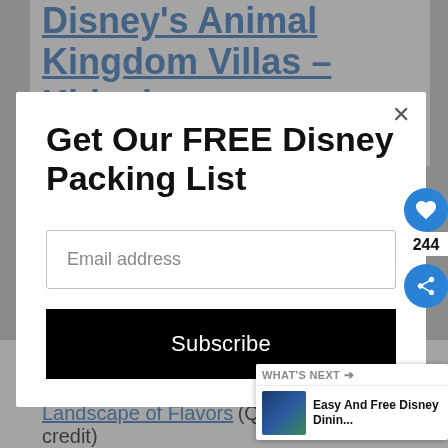Disney's Animal Kingdom Villas – Kidani Village
[Figure (screenshot): Modal popup dialog with email subscription form. Contains title 'Get Our FREE Disney Packing List', an email address input field, and a black Subscribe button.]
Art of Animation In Room Delivery (Room Service, 2 credits)
Landscape of Flavors (Quick Service, 1 credit)